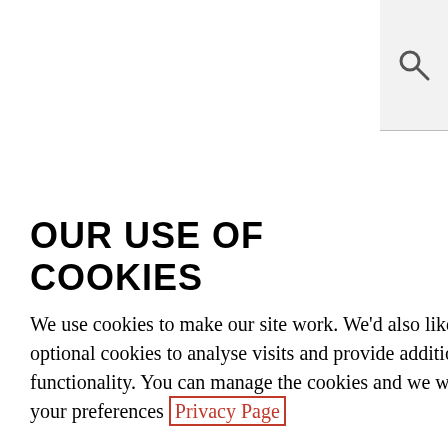OUR USE OF COOKIES
We use cookies to make our site work. We'd also like to set optional cookies to analyse visits and provide additional functionality. You can manage the cookies and we will remember your preferences Privacy Page